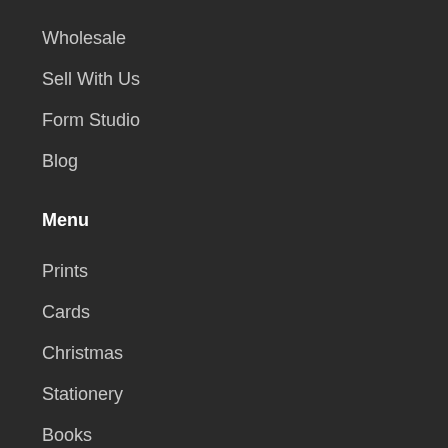Wholesale
Sell With Us
Form Studio
Blog
Menu
Prints
Cards
Christmas
Stationery
Books
Homeware
Magazines
Fun and Games